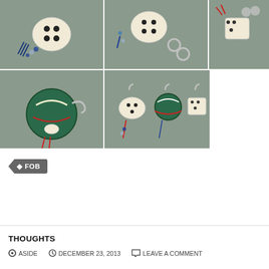[Figure (photo): Grid of 5 photos showing decorative beaded jewelry/fob charms with colorful beads and metal clasps on a wooden surface]
FOB
THOUGHTS
ASIDE  DECEMBER 23, 2013  LEAVE A COMMENT